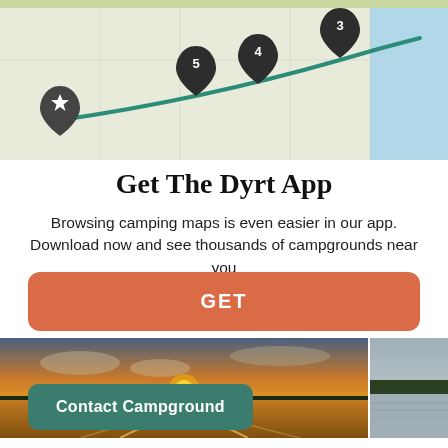[Figure (map): A road map showing a route with numbered pins (3, 4, 5) and a star pin, with a teal/green path drawn across states. Blue water visible on right edge.]
Get The Dyrt App
Browsing camping maps is even easier in our app. Download now and see thousands of campgrounds near you
GET
[Figure (photo): A sunset over a lake with a boat wake in the foreground, orange and gold sky reflected in the water.]
[Figure (photo): A partial view of a lake or river with trees on the far shore, gray sky.]
Contact Campground